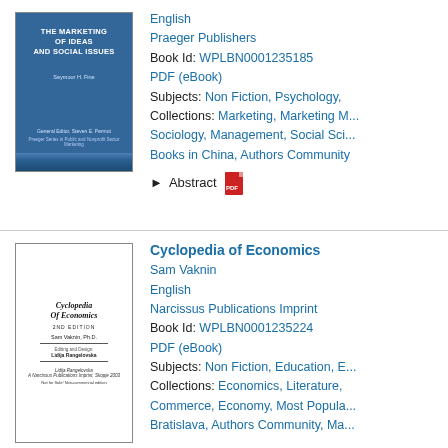[Figure (illustration): Book cover of 'The Marketing of Ideas and Social Issues' - blue cover with white text, Praeger Publishers series]
English
Praeger Publishers
Book Id: WPLBN0001235185
PDF (eBook)
Subjects: Non Fiction, Psychology,
Collections: Marketing, Marketing M... Sociology, Management, Social Sci... Books in China, Authors Community
Abstract
[Figure (illustration): Book cover of 'Cyclopedia of Economics' - white cover with italic title and author Sam Vaknin, Ph.D., 2nd edition, Narcissus Publications Imprint]
Cyclopedia of Economics
Sam Vaknin
English
Narcissus Publications Imprint
Book Id: WPLBN0001235224
PDF (eBook)
Subjects: Non Fiction, Education, E...
Collections: Economics, Literature, Commerce, Economy, Most Popula... Bratislava, Authors Community, Ma...